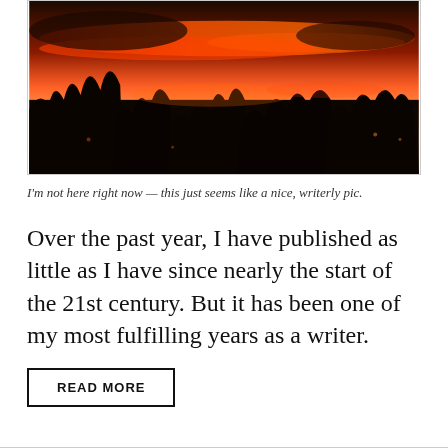[Figure (photo): A dark silhouetted forest/treeline against a dramatic orange-red sunset sky with glowing clouds]
I'm not here right now — this just seems like a nice, writerly pic.
Over the past year, I have published as little as I have since nearly the start of the 21st century. But it has been one of my most fulfilling years as a writer.
READ MORE